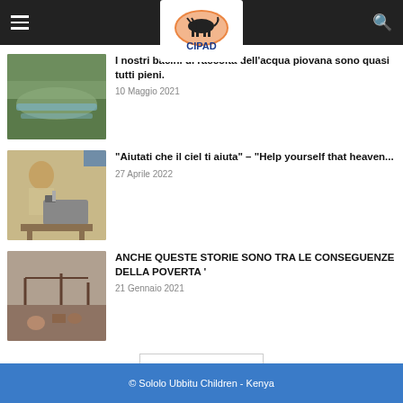CIPAD
I nostri bacini di raccolta dell'acqua piovana sono quasi tutti pieni.
10 Maggio 2021
"Aiutati che il ciel ti aiuta" – "Help yourself that heaven...
27 Aprile 2022
ANCHE QUESTE STORIE SONO TRA LE CONSEGUENZE DELLA POVERTA '
21 Gennaio 2021
Load more
© Sololo Ubbitu Children - Kenya